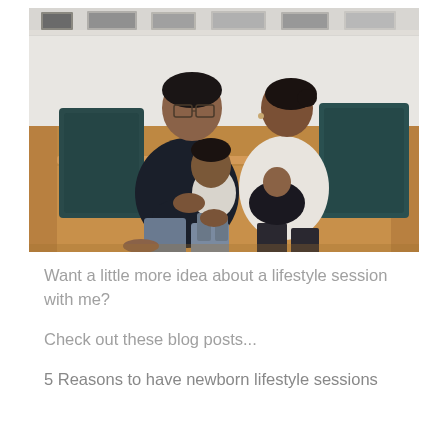[Figure (photo): A family of four sitting on a tan/cognac leather sofa. A man with glasses wearing a dark sweater holds a toddler on his lap. A woman in a light sweater sits beside him holding a newborn baby. Dark teal/green throw pillows are on either side. Framed photos are visible on a shelf on the wall behind them.]
Want a little more idea about a lifestyle session with me?
Check out these blog posts...
5 Reasons to have newborn lifestyle sessions